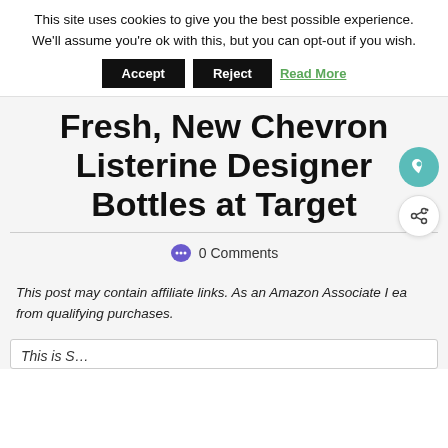This site uses cookies to give you the best possible experience. We'll assume you're ok with this, but you can opt-out if you wish.
Accept  Reject  Read More
Fresh, New Chevron Listerine Designer Bottles at Target
0 Comments
This post may contain affiliate links. As an Amazon Associate I ea from qualifying purchases.
This is S...